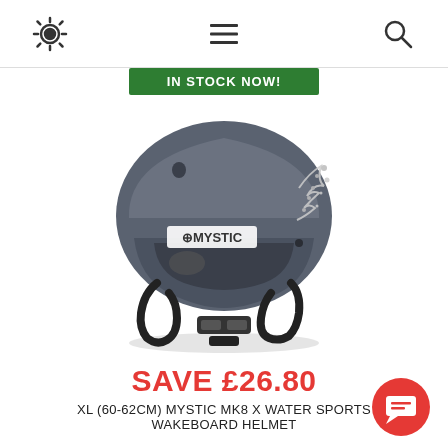Settings | Menu | Search
IN STOCK NOW!
[Figure (photo): Grey Mystic MK8 X Water Sports wakeboard helmet with black chin straps and water splash graphic on the side]
SAVE £26.80
XL (60-62CM) MYSTIC MK8 X WATER SPORTS WAKEBOARD HELMET